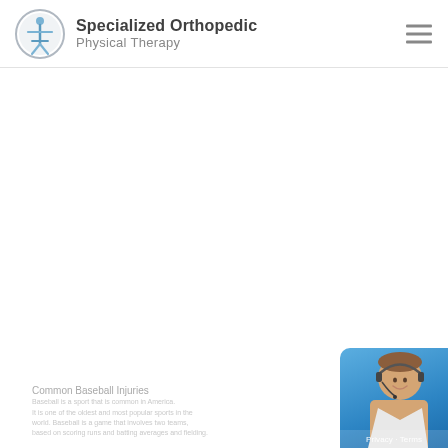[Figure (logo): Specialized Orthopedic Physical Therapy logo: circular emblem with a human figure and spine/joint icon in blue and grey, accompanied by company name text]
Specialized Orthopedic Physical Therapy
Physical Therapy
[Figure (illustration): Hamburger menu icon (three horizontal grey lines) in the top-right corner of the header]
Common Baseball Injuries
Baseball is a sport that is common in America. It is one of the oldest and most popular sports in the world. Baseball is a game that involves two teams...
[Figure (photo): Chat widget in the bottom-right corner showing a smiling female customer service representative wearing a headset, against a blue background, with Privacy and Terms text]